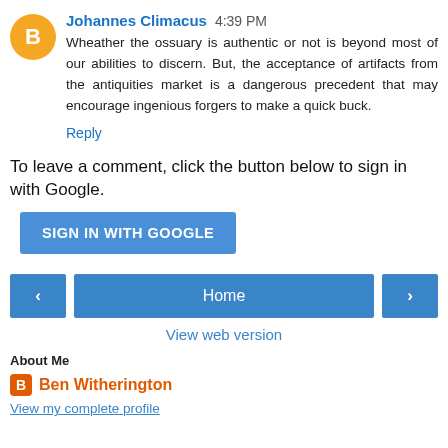Johannes Climacus  4:39 PM
Wheather the ossuary is authentic or not is beyond most of our abilities to discern. But, the acceptance of artifacts from the antiquities market is a dangerous precedent that may encourage ingenious forgers to make a quick buck.
Reply
To leave a comment, click the button below to sign in with Google.
SIGN IN WITH GOOGLE
Home
View web version
About Me
Ben Witherington
View my complete profile